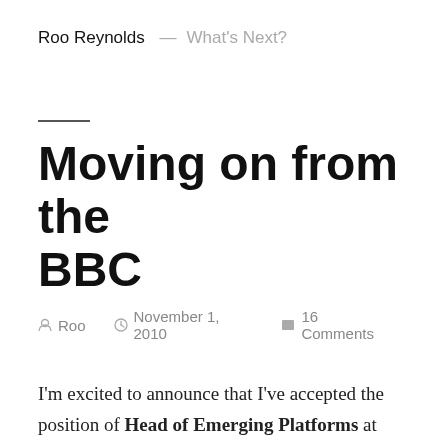Roo Reynolds — What's Next?
Moving on from the BBC
Roo  November 1, 2010  16 Comments
I'm excited to announce that I've accepted the position of Head of Emerging Platforms at